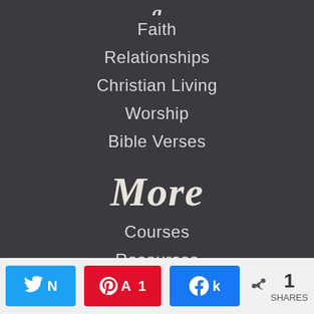Faith
Relationships
Christian Living
Worship
Bible Verses
More
Courses
Resources
About
N Tweet  A Pin 1  k Share  < 1 SHARES